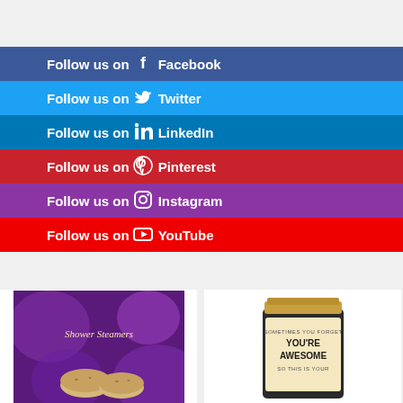Follow us on Facebook
Follow us on Twitter
Follow us on LinkedIn
Follow us on Pinterest
Follow us on Instagram
Follow us on YouTube
[Figure (photo): Shower Steamers product in purple packaging]
[Figure (photo): Glass jar with label reading SOMETIMES YOU FORGET YOU'RE AWESOME SO THIS IS YOUR]